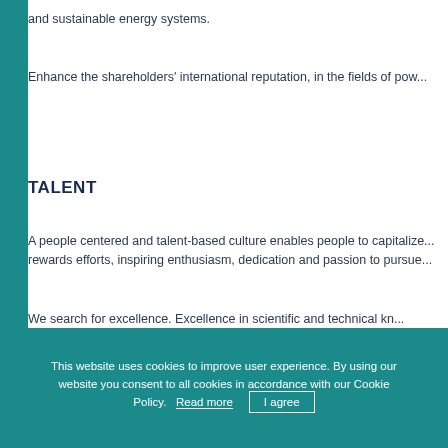and sustainable energy systems.
Enhance the shareholders' international reputation, in the fields of pow...
TALENT
A people centered and talent-based culture enables people to capitalize... rewards efforts, inspiring enthusiasm, dedication and passion to pursue...
We search for excellence. Excellence in scientific and technical kn... provide.
Our teams are made of people
This website uses cookies to improve user experience. By using our website you consent to all cookies in accordance with our Cookie Policy.  Read more   I agree